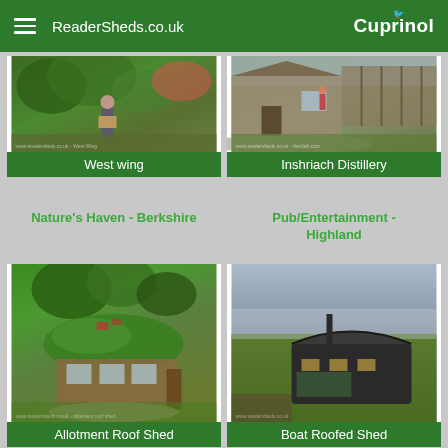ReaderSheds.co.uk
[Figure (photo): Person standing in a garden shed allotment with lush green plants, holding a box. Caption: West wing.]
West wing
Nature's Haven - Berkshire
[Figure (photo): View of a rustic shed building with a gravel path and fence in a highland setting. Caption: Inshriach Distillery.]
Inshriach Distillery
Pub/Entertainment - Highland
[Figure (photo): Aerial view of a green-roofed allotment shed surrounded by trees and grass.]
Allotment Roof Shed
[Figure (photo): A boat-roofed shed on a hillside with panoramic moorland views.]
Boat Roofed Shed